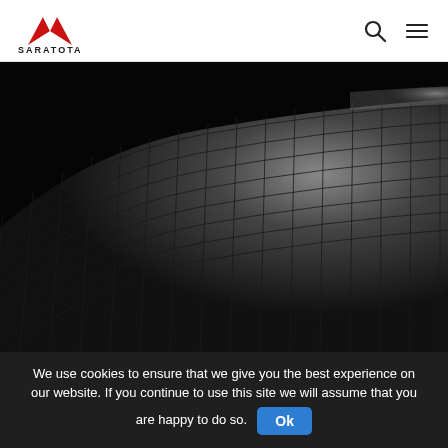SARATOTA
[Figure (photo): Dark engineering/architecture visualization showing a curved 3D mesh surface rendered in dark gray with a grid/wireframe pattern on a black background. The curved surface sweeps diagonally across the frame with lighter highlights on the upper right edge.]
We use cookies to ensure that we give you the best experience on our website. If you continue to use this site we will assume that you are happy to do so. Ok